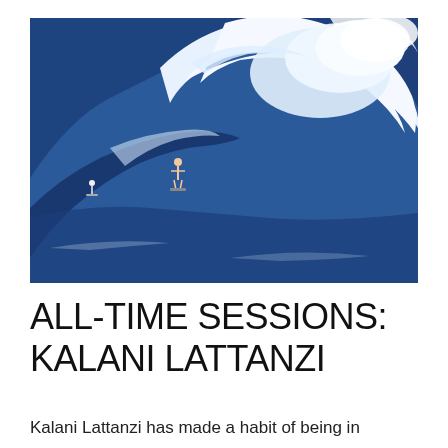[Figure (photo): Aerial or elevated view of a surfer riding an enormous ocean wave. The wave is massive with a huge white water crest curling over. The ocean is deep blue. The surfer appears small on the face of the wave. Another person or object is visible further left on the wave.]
ALL-TIME SESSIONS: KALANI LATTANZI
Kalani Lattanzi has made a habit of being in